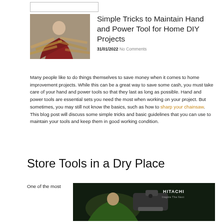[Figure (other): Navigation or header bar element — a rectangular outlined box at the top of the page]
[Figure (photo): Photo of a person in a plaid shirt working with wooden boards in a workshop]
Simple Tricks to Maintain Hand and Power Tool for Home DIY Projects
31/01/2022 No Comments
Many people like to do things themselves to save money when it comes to home improvement projects. While this can be a great way to save some cash, you must take care of your hand and power tools so that they last as long as possible. Hand and power tools are essential sets you need the most when working on your project. But sometimes, you may still not know the basics, such as how to sharp your chainsaw. This blog post will discuss some simple tricks and basic guidelines that you can use to maintain your tools and keep them in good working condition.
Store Tools in a Dry Place
One of the most
[Figure (photo): Photo of a person holding a power tool (Hitachi brand drill or similar) against a dark background]